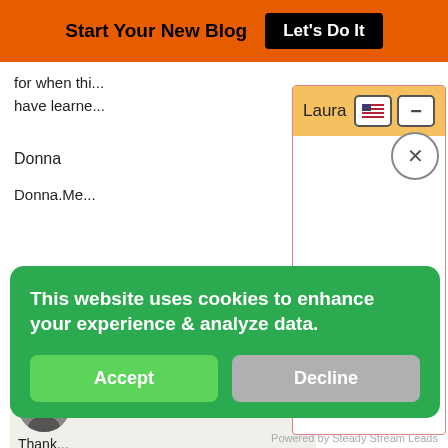Start Your New Blog  Let's Do It
for when thi... have learne...
Donna
Donna.Me...
Elain...
Thank... just sold our acr...
[Figure (screenshot): Popup dialog with orange header labeled 'Laura', USA flag icon button, minus button, and close X circle button. White body area.]
This website uses cookies to enhance your experience & analyze data.
Accept
Decline
Powered by Steady Stream Leads